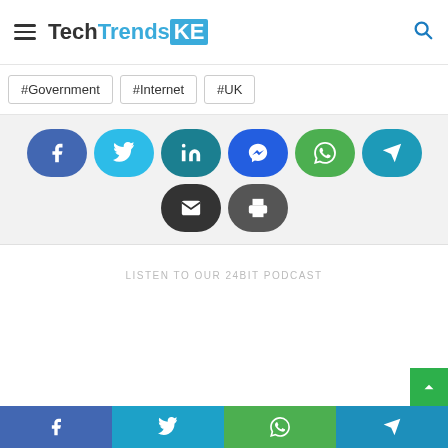TechTrendsKE
#Government
#Internet
#UK
[Figure (infographic): Social share buttons: Facebook, Twitter, LinkedIn, Messenger, WhatsApp, Telegram, Email, Print]
LISTEN TO OUR 24BIT PODCAST
Facebook | Twitter | WhatsApp | Telegram bottom share bar